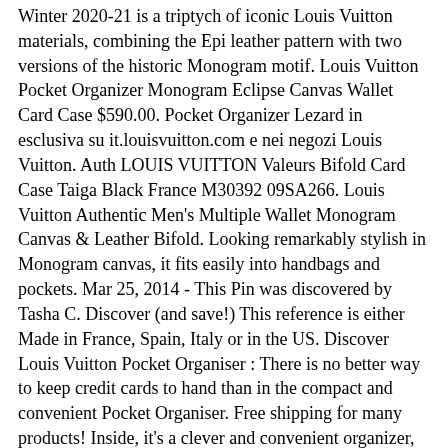Winter 2020-21 is a triptych of iconic Louis Vuitton materials, combining the Epi leather pattern with two versions of the historic Monogram motif. Louis Vuitton Pocket Organizer Monogram Eclipse Canvas Wallet Card Case $590.00. Pocket Organizer Lezard in esclusiva su it.louisvuitton.com e nei negozi Louis Vuitton. Auth LOUIS VUITTON Valeurs Bifold Card Case Taiga Black France M30392 09SA266. Louis Vuitton Authentic Men's Multiple Wallet Monogram Canvas & Leather Bifold. Looking remarkably stylish in Monogram canvas, it fits easily into handbags and pockets. Mar 25, 2014 - This Pin was discovered by Tasha C. Discover (and save!) This reference is either Made in France, Spain, Italy or in the US. Discover Louis Vuitton Pocket Organiser : There is no better way to keep credit cards to hand than in the compact and convenient Pocket Organiser. Free shipping for many products! Inside, it's a clever and convenient organizer, with five pockets and three card slots. Pocket Organizer. This item is sold See similar View More. Discover Louis Vuitton Pocket Organizer: Crafted in our new iconic black and grey Monogram Eclipse canvas, this resolutely masculine version of the compact Pocket Organizer is for men who want a compact all-in-one wallet that can hold credit cards, bills and papers. Est. £508.92. Louis Vuitton Pocket Organizer Wallet in Colored Monogram Canvas M61696 Black Louis Vuitton Pocket Organizer Wallet in Colored Monogram Canvas M61696 Black Model: M61696-2 An eye-catching combination of elegance and efficiency. Discover Louis